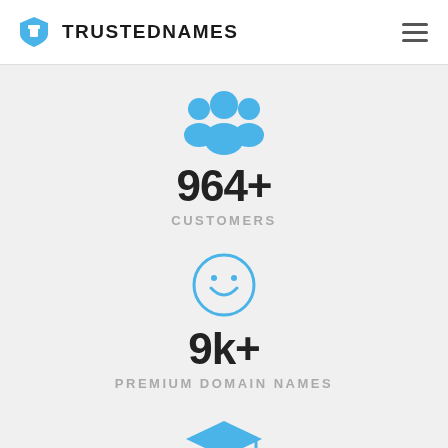TRUSTEDNAMES
[Figure (illustration): Blue group of people / customers icon]
964+
CUSTOMERS
[Figure (illustration): Blue smiley face circle icon]
9k+
PREMIUM DOMAIN NAMES
[Figure (illustration): Blue graduation cap icon]